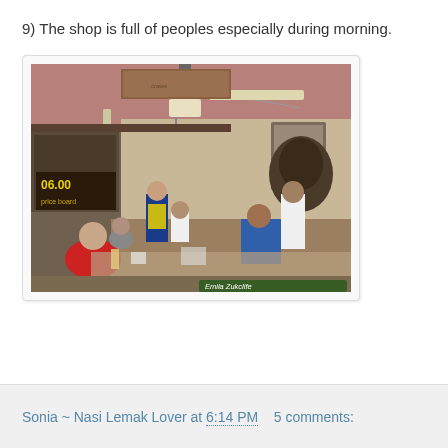9) The shop is full of peoples especially during morning.
[Figure (photo): Interior of a busy restaurant/coffee shop crowded with people dining. A worker in a yellow vest is standing. The shop has exposed ceiling pipes, hanging lights, wall decorations, and wooden crates. Watermark reads 'Emila Zukclife' at bottom right.]
Sonia ~ Nasi Lemak Lover at 6:14 PM    5 comments: